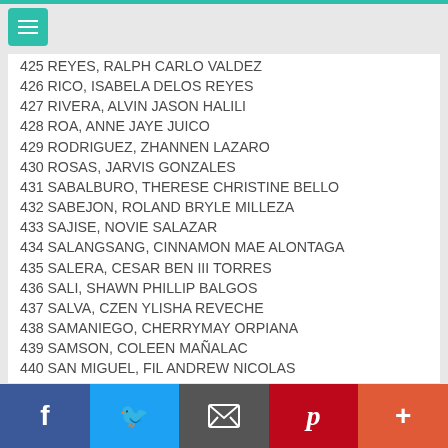425 REYES, RALPH CARLO VALDEZ
426 RICO, ISABELA DELOS REYES
427 RIVERA, ALVIN JASON HALILI
428 ROA, ANNE JAYE JUICO
429 RODRIGUEZ, ZHANNEN LAZARO
430 ROSAS, JARVIS GONZALES
431 SABALBURO, THERESE CHRISTINE BELLO
432 SABEJON, ROLAND BRYLE MILLEZA
433 SAJISE, NOVIE SALAZAR
434 SALANGSANG, CINNAMON MAE ALONTAGA
435 SALERA, CESAR BEN III TORRES
436 SALI, SHAWN PHILLIP BALGOS
437 SALVA, CZEN YLISHA REVECHE
438 SAMANIEGO, CHERRYMAY ORPIANA
439 SAMSON, COLEEN MAÑALAC
440 SAN MIGUEL, FIL ANDREW NICOLAS
441 SANCHO, JOSE MARI PADRON
442 SANTOS, FROILAN CLEMENTE
443 SANTOS, JEZTER ANGELO DULAY